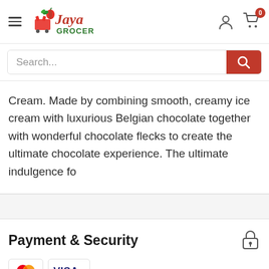[Figure (logo): Jaya Grocer logo with hamburger menu on left, user and cart icons on right]
[Figure (screenshot): Search bar with red search button]
Cream. Made by combining smooth, creamy ice cream with luxurious Belgian chocolate together with wonderful chocolate flecks to create the ultimate chocolate experience. The ultimate indulgence fo
Payment & Security
[Figure (logo): Mastercard and Visa payment logos]